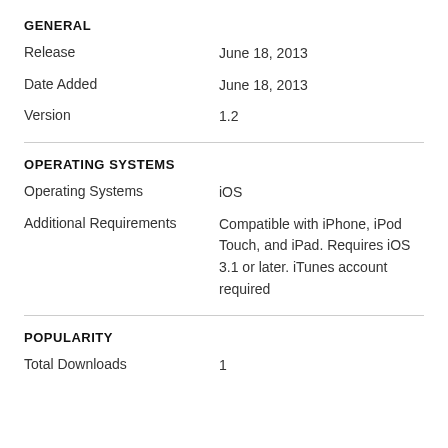GENERAL
| Release | June 18, 2013 |
| Date Added | June 18, 2013 |
| Version | 1.2 |
OPERATING SYSTEMS
| Operating Systems | iOS |
| Additional Requirements | Compatible with iPhone, iPod Touch, and iPad. Requires iOS 3.1 or later. iTunes account required |
POPULARITY
| Total Downloads | 1 |